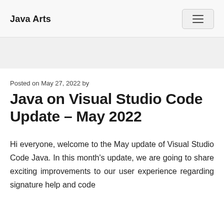Java Arts
Posted on May 27, 2022 by
Java on Visual Studio Code Update – May 2022
Hi everyone, welcome to the May update of Visual Studio Code Java. In this month's update, we are going to share exciting improvements to our user experience regarding signature help and code